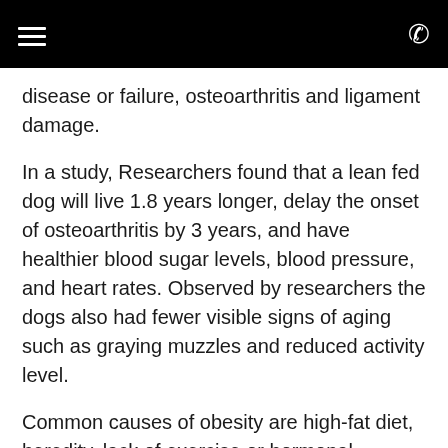disease or failure, osteoarthritis and ligament damage.
In a study, Researchers found that a lean fed dog will live 1.8 years longer, delay the onset of osteoarthritis by 3 years, and have healthier blood sugar levels, blood pressure, and heart rates. Observed by researchers the dogs also had fewer visible signs of aging such as graying muzzles and reduced activity level.
Common causes of obesity are high-fat diet, heredity, lack of exercise or hormonal disorders. The most common is over-consumption of food.